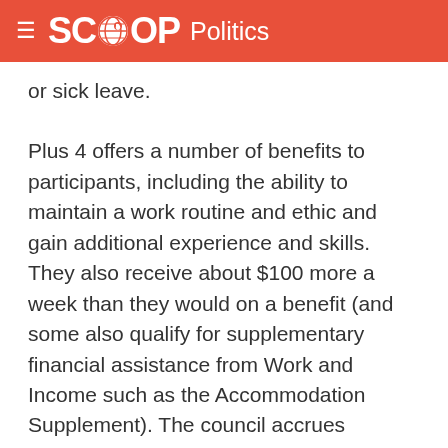SCOOP Politics
or sick leave.
Plus 4 offers a number of benefits to participants, including the ability to maintain a work routine and ethic and gain additional experience and skills. They also receive about $100 more a week than they would on a benefit (and some also qualify for supplementary financial assistance from Work and Income such as the Accommodation Supplement). The council accrues benefits from the additional temporary staffing capacity and through the intake of new talent who may not have previously considered working in local government.